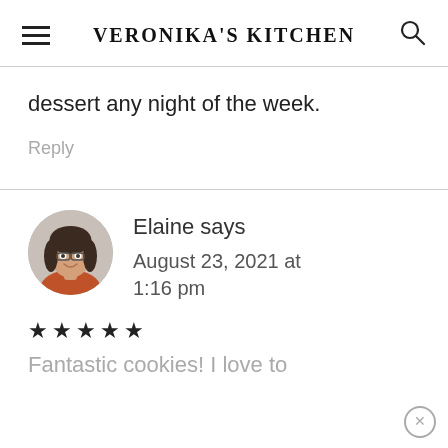VERONIKA'S KITCHEN
dessert any night of the week.
Reply
Elaine says
August 23, 2021 at 1:16 pm
[Figure (illustration): Circular avatar photo of Elaine, a woman with dark curly hair and glasses, wearing an orange top, smiling]
★★★★★
Fantastic cookies! I love to